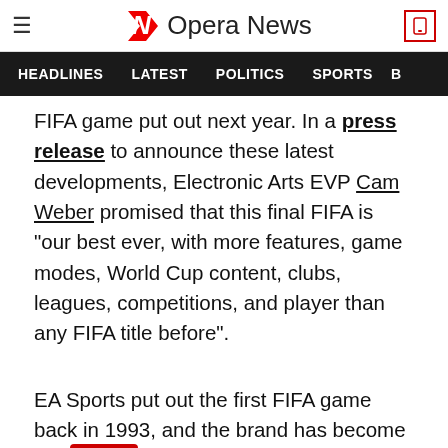Opera News — HEADLINES | LATEST | POLITICS | SPORTS
FIFA game put out next year. In a press release to announce these latest developments, Electronic Arts EVP Cam Weber promised that this final FIFA is "our best ever, with more features, game modes, World Cup content, clubs, leagues, competitions, and player than any FIFA title before".
EA Sports put out the first FIFA game back in 1993, and the brand has become one [of the] most lucrative and